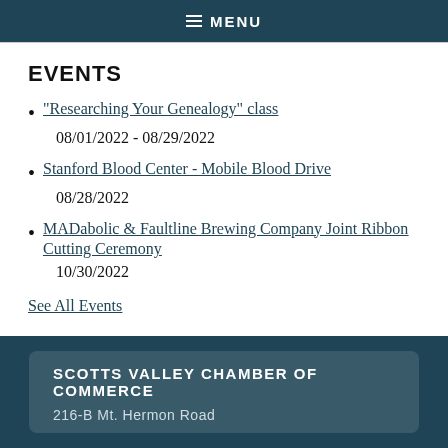☰ MENU
EVENTS
"Researching Your Genealogy" class
08/01/2022 - 08/29/2022
Stanford Blood Center - Mobile Blood Drive
08/28/2022
MADabolic & Faultline Brewing Company Joint Ribbon Cutting Ceremony
10/30/2022
See All Events
SCOTTS VALLEY CHAMBER OF COMMERCE
216-B Mt. Hermon Road